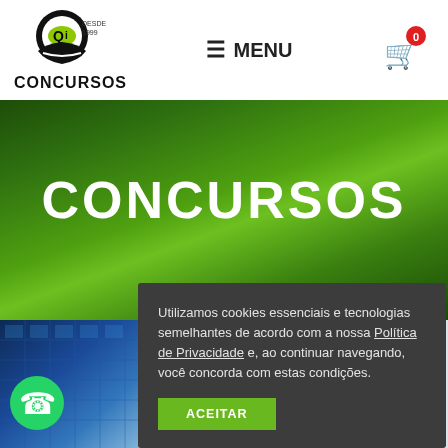[Figure (logo): Qi Concursos logo with head silhouette and Qi text in green, 'CONCURSOS' below, 'DESDE 1999' text]
≡ MENU
[Figure (illustration): Shopping cart icon with red badge showing 0]
CONCURSOS
Utilizamos cookies essenciais e tecnologias semelhantes de acordo com a nossa Política de Privacidade e, ao continuar navegando, você concorda com estas condições.
ACEITAR
[Figure (photo): Blue tinted architectural/building photo in bottom left]
[Figure (logo): WhatsApp green icon bottom left]